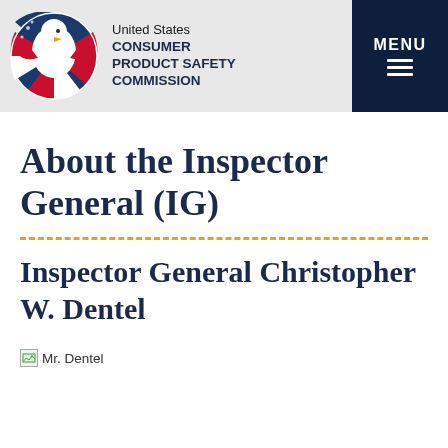United States CONSUMER PRODUCT SAFETY COMMISSION
About the Inspector General (IG)
Inspector General Christopher W. Dentel
[Figure (photo): Broken image placeholder labeled 'Mr. Dentel']
Mr. Dentel